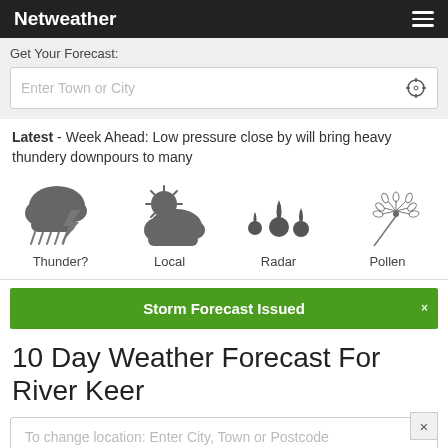Netweather
Get Your Forecast:
Enter Town or City
Latest - Week Ahead: Low pressure close by will bring heavy thundery downpours to many
[Figure (illustration): Four weather icons in a row: Thunder? (storm cloud with lightning and rain), Local (sun behind cloud), Radar (rain drops), Pollen (dandelion)]
Storm Forecast Issued
10 Day Weather Forecast For River Keer
To change location: Enter City, Town or Postcode